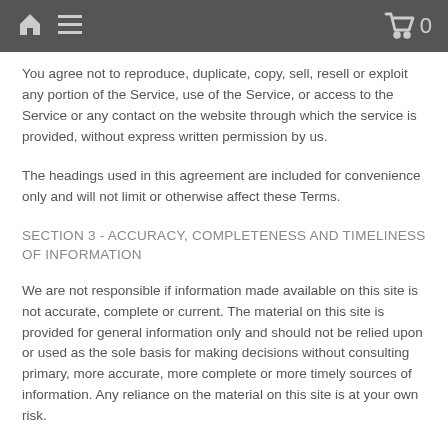Home Menu Cart 0
You agree not to reproduce, duplicate, copy, sell, resell or exploit any portion of the Service, use of the Service, or access to the Service or any contact on the website through which the service is provided, without express written permission by us.
The headings used in this agreement are included for convenience only and will not limit or otherwise affect these Terms.
SECTION 3 - ACCURACY, COMPLETENESS AND TIMELINESS OF INFORMATION
We are not responsible if information made available on this site is not accurate, complete or current. The material on this site is provided for general information only and should not be relied upon or used as the sole basis for making decisions without consulting primary, more accurate, more complete or more timely sources of information. Any reliance on the material on this site is at your own risk.